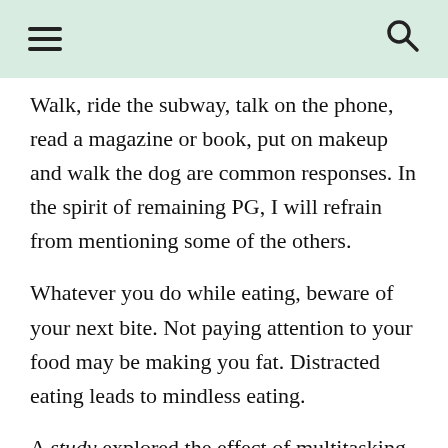Walk, ride the subway, talk on the phone, read a magazine or book, put on makeup and walk the dog are common responses. In the spirit of remaining PG, I will refrain from mentioning some of the others.
Whatever you do while eating, beware of your next bite. Not paying attention to your food may be making you fat. Distracted eating leads to mindless eating.
A study explored the effect of multitasking on